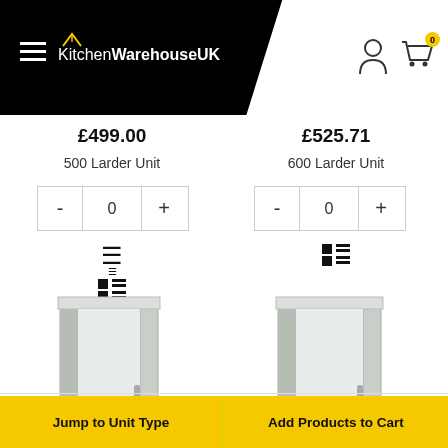KitchenWarehouseUK
£499.00
500 Larder Unit
£525.71
600 Larder Unit
[Figure (screenshot): Quantity stepper control for 500 Larder Unit showing - 0 +]
[Figure (screenshot): Quantity stepper control for 600 Larder Unit showing - 0 +]
[Figure (illustration): Product image of 500 Larder Unit kitchen cabinet]
[Figure (illustration): Product image of 600 Larder Unit kitchen cabinet]
Jump to Unit Type
Add Products to Cart